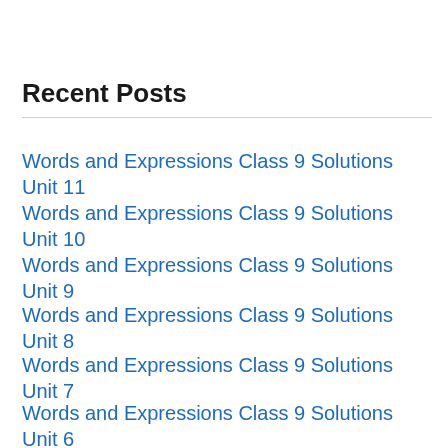Recent Posts
Words and Expressions Class 9 Solutions Unit 11
Words and Expressions Class 9 Solutions Unit 10
Words and Expressions Class 9 Solutions Unit 9
Words and Expressions Class 9 Solutions Unit 8
Words and Expressions Class 9 Solutions Unit 7
Words and Expressions Class 9 Solutions Unit 6
Words and Expressions Class 9 Solutions Unit 5